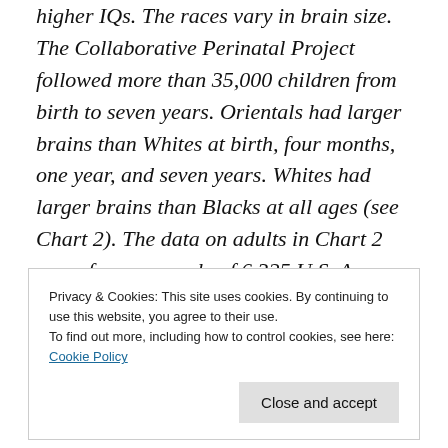higher IQs. The races vary in brain size. The Collaborative Perinatal Project followed more than 35,000 children from birth to seven years. Orientals had larger brains than Whites at birth, four months, one year, and seven years. Whites had larger brains than Blacks at all ages (see Chart 2). The data on adults in Chart 2 come from a sample of 6,325 U.S. Army personnel. Chapter 5 asks whether differences in our brain size, our bodies and our behavior are
Privacy & Cookies: This site uses cookies. By continuing to use this website, you agree to their use.
To find out more, including how to control cookies, see here:
Cookie Policy
history theory" I have proposed to explain the